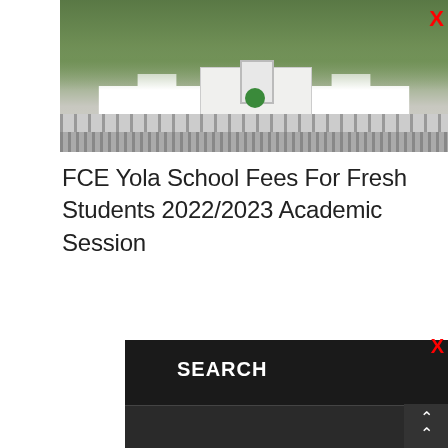[Figure (photo): Campus/building photo of FCE Yola showing a white gate structure with green arch, surrounded by trees]
FCE Yola School Fees For Fresh Students 2022/2023 Academic Session
SEARCH